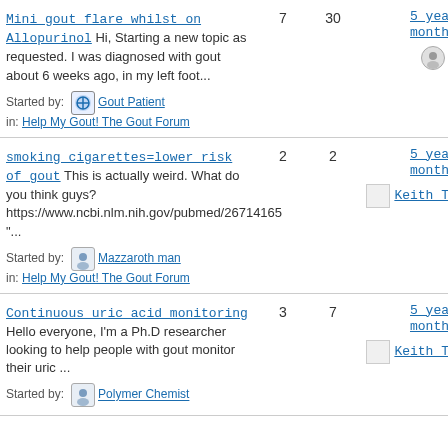Mini gout flare whilst on Allopurinol Hi, Starting a new topic as requested. I was diagnosed with gout about 6 weeks ago, in my left foot... Started by: Gout Patient in: Help My Gout! The Gout Forum
smoking cigarettes=lower risk of gout This is actually weird. What do you think guys? https://www.ncbi.nlm.nih.gov/pubmed/26714165 "... Started by: Mazzaroth man in: Help My Gout! The Gout Forum
Continuous uric acid monitoring Hello everyone, I'm a Ph.D researcher looking to help people with gout monitor their uric ... Started by: Polymer Chemist in: Help My Gout! The Gout Forum